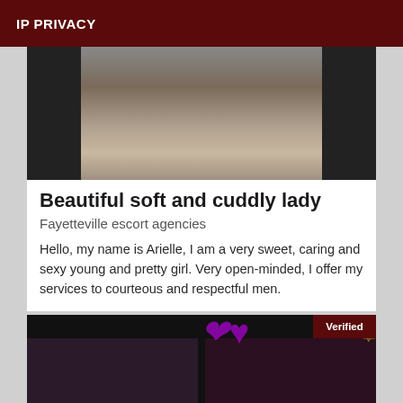IP PRIVACY
[Figure (photo): Partial photo of a person's lower body and feet in heeled sandals, standing in front of a mirror with a wood-look floor background. Dark panels frame the sides.]
Beautiful soft and cuddly lady
Fayetteville escort agencies
Hello, my name is Arielle, I am a very sweet, caring and sexy young and pretty girl. Very open-minded, I offer my services to courteous and respectful men.
[Figure (photo): Two dark composite photos side by side with purple and gold decorative script overlays. A 'Verified' badge appears in the top-right corner.]